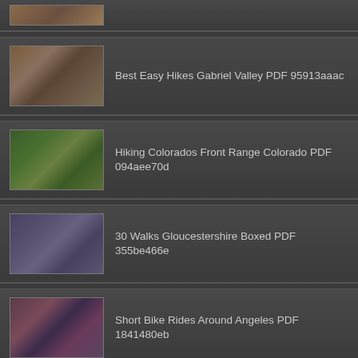[Figure (photo): Partial thumbnail of first item cut off at top]
Best Easy Hikes Gabriel Valley PDF 95913aaac
Hiking Colorados Front Range Colorado PDF 094aee70d
30 Walks Gloucestershire Boxed PDF 355be466e
Short Bike Rides Around Angeles PDF 1841480eb
Sierra Nevada Adventure Guide PDF 2df380d52